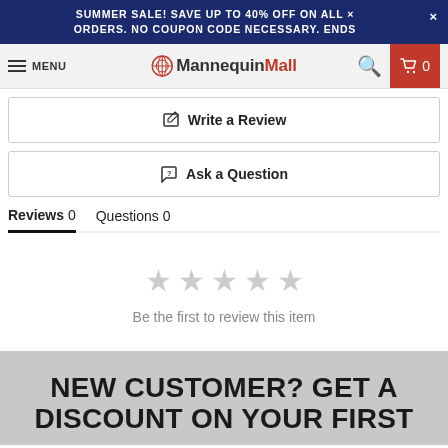SUMMER SALE! SAVE UP TO 40% OFF ON ALL ORDERS. NO COUPON CODE NECESSARY. ENDS
MENU MannequinMall 0
✎ Write a Review
💬 Ask a Question
Reviews 0   Questions 0
[Figure (other): Five empty grey star rating icons indicating no reviews yet]
Be the first to review this item
NEW CUSTOMER? GET A DISCOUNT ON YOUR FIRST